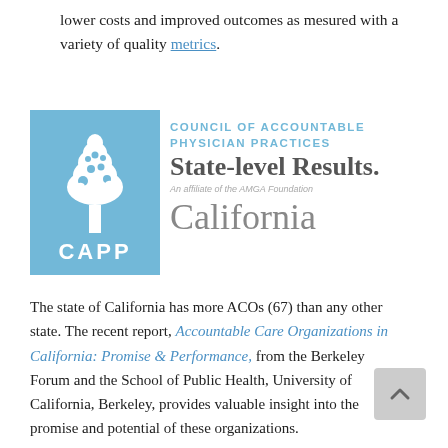lower costs and improved outcomes as mesured with a variety of quality metrics.
[Figure (logo): CAPP (Council of Accountable Physician Practices) logo with tree icon on blue background, overlaid with 'State-level Results.' heading and 'California' subheading]
The state of California has more ACOs (67) than any other state. The recent report, Accountable Care Organizations in California: Promise & Performance, from the Berkeley Forum and the School of Public Health, University of California, Berkeley, provides valuable insight into the promise and potential of these organizations.